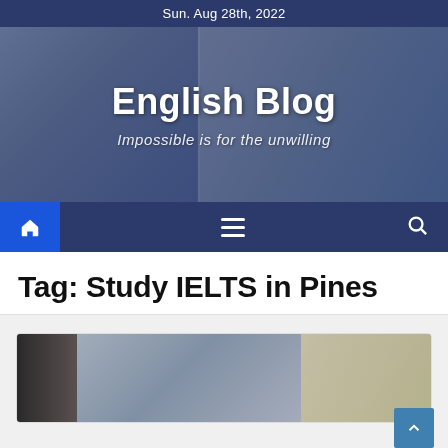Sun. Aug 28th, 2022
[Figure (photo): Hero banner with airplane photo background, English Blog title and tagline]
English Blog
Impossible is for the unwilling
[Figure (infographic): Navigation bar with home icon button (blue), hamburger menu icon, and search icon on dark navy background]
Tag: Study IELTS in Pines
[Figure (photo): Article card with blurred photo of people, partially visible]